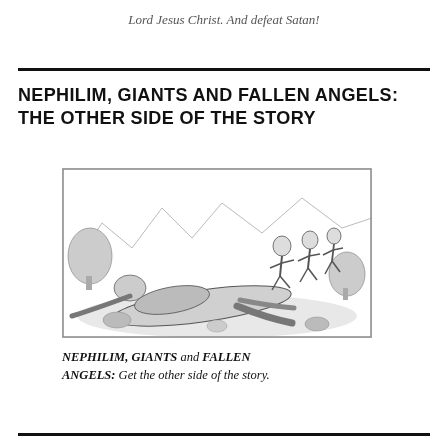Lord Jesus Christ. And defeat Satan!
NEPHILIM, GIANTS AND FALLEN ANGELS: THE OTHER SIDE OF THE STORY
[Figure (illustration): A black and white illustration showing a battle scene with giant fallen figures on the ground and warriors running in the background, with mountains and trees in the landscape.]
NEPHILIM, GIANTS and FALLEN ANGELS: Get the other side of the story.